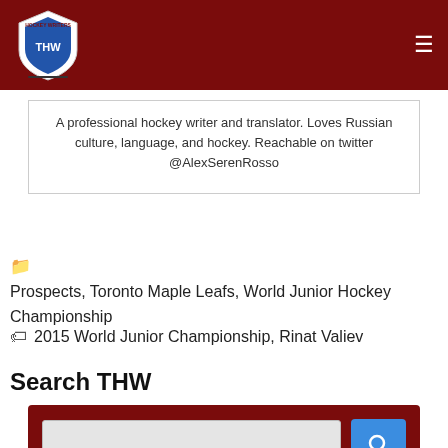THW Hockey Writers
A professional hockey writer and translator. Loves Russian culture, language, and hockey. Reachable on twitter @AlexSerenRosso
Prospects, Toronto Maple Leafs, World Junior Hockey Championship
2015 World Junior Championship, Rinat Valiev
Search THW
[Figure (screenshot): Search bar widget with dark red background, text input field, and blue search button with magnifying glass icon]